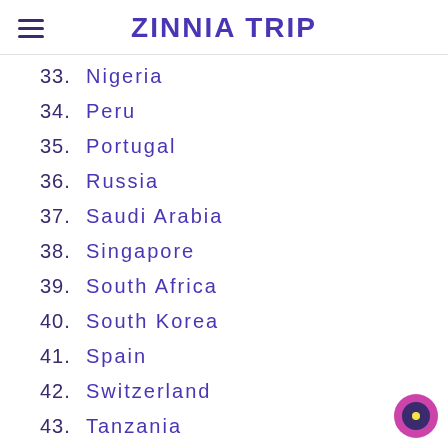ZINNIA TRIP
33. Nigeria
34. Peru
35. Portugal
36. Russia
37. Saudi Arabia
38. Singapore
39. South Africa
40. South Korea
41. Spain
42. Switzerland
43. Tanzania